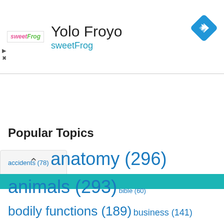[Figure (screenshot): Advertisement banner for Yolo Froyo at sweetFrog with logo and navigation diamond icon]
Yolo Froyo
sweetFrog
Popular Topics
accidents (78) anatomy (296) animals (293) bible (60) bodily functions (189) business (141) cannibalism (62) cars (74) celebrities (133) chex (96) cows (69) crime (132) current events (62) death (99) diseases (99) drugs (64) ethnic groups (77) fashion (117) ... food and ...